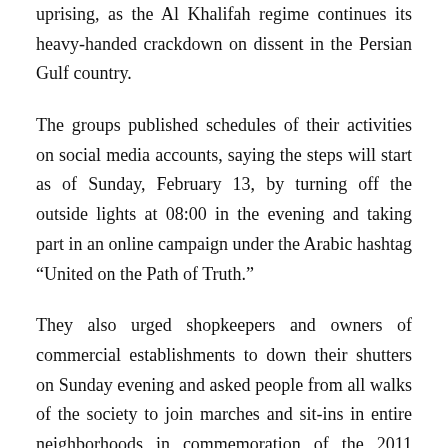uprising, as the Al Khalifah regime continues its heavy-handed crackdown on dissent in the Persian Gulf country.
The groups published schedules of their activities on social media accounts, saying the steps will start as of Sunday, February 13, by turning off the outside lights at 08:00 in the evening and taking part in an online campaign under the Arabic hashtag “United on the Path of Truth.”
They also urged shopkeepers and owners of commercial establishments to down their shutters on Sunday evening and asked people from all walks of the society to join marches and sit-ins in entire neighborhoods in commemoration of the 2011 popular uprising.
The opposition groups called on ordinary citizens to take civil